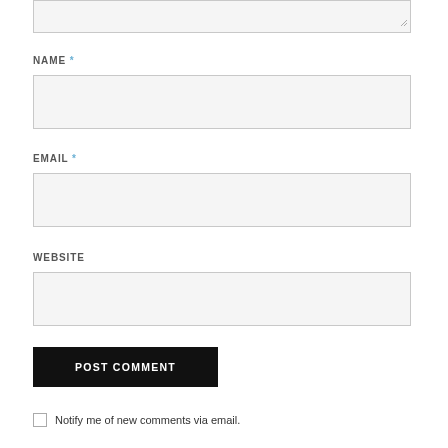[Figure (other): Top portion of a comment form textarea (truncated at top of page)]
NAME *
[Figure (other): Name input text field, empty, light gray background]
EMAIL *
[Figure (other): Email input text field, empty, light gray background]
WEBSITE
[Figure (other): Website input text field, empty, light gray background]
[Figure (other): POST COMMENT button, black background, white uppercase text]
Notify me of new comments via email.